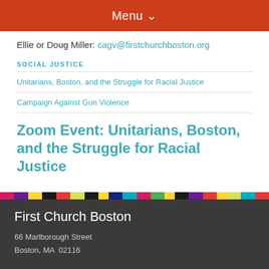Menu
Ellie or Doug Miller: cagv@firstchurchboston.org
SOCIAL JUSTICE
Unitarians, Boston, and the Struggle for Racial Justice
Campaign Against Gun Violence
Zoom Event: Unitarians, Boston, and the Struggle for Racial Justice
First Church Boston
66 Marlborough Street
Boston, MA  02116